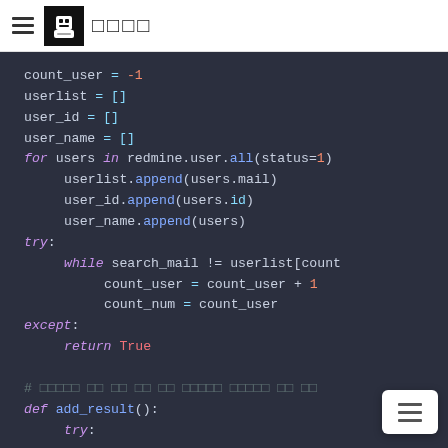☰ [avatar] □□□□
[Figure (screenshot): Python code snippet on dark background showing variable initialization (count_user, userlist, user_id, user_name), a for loop iterating over redmine.user.all(status=1), a try/except block with while loop and return True, a comment in Korean, and def add_result() function definition with try block.]